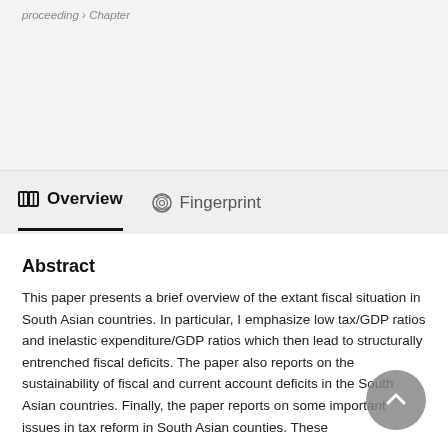proceeding › Chapter
Overview   Fingerprint
Abstract
This paper presents a brief overview of the extant fiscal situation in South Asian countries. In particular, I emphasize low tax/GDP ratios and inelastic expenditure/GDP ratios which then lead to structurally entrenched fiscal deficits. The paper also reports on the sustainability of fiscal and current account deficits in the South Asian countries. Finally, the paper reports on some important issues in tax reform in South Asian counties. These